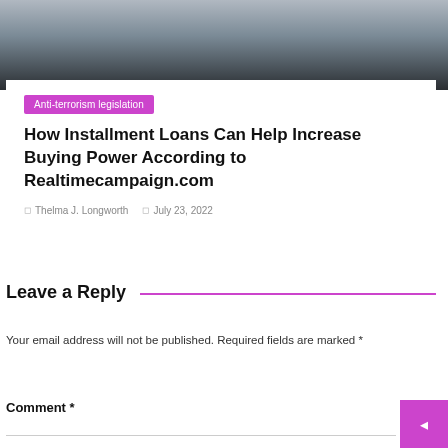[Figure (photo): Partial photo visible at the top of the page, showing a blurred dark and grey scene]
Anti-terrorism legislation
How Installment Loans Can Help Increase Buying Power According to Realtimecampaign.com
Thelma J. Longworth   July 23, 2022
Leave a Reply
Your email address will not be published. Required fields are marked *
Comment *